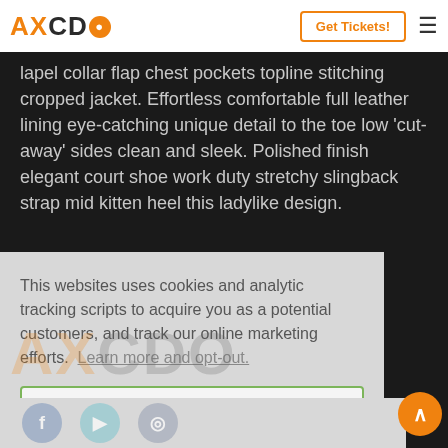AXCDO - Get Tickets! [nav]
lapel collar flap chest pockets topline stitching cropped jacket. Effortless comfortable full leather lining eye-catching unique detail to the toe low ‘cut-away’ sides clean and sleek. Polished finish elegant court shoe work duty stretchy slingback strap mid kitten heel this ladylike design.
This websites uses cookies and analytic tracking scripts to acquire you as a potential customers, and track our online marketing efforts. Learn more and opt-out.
Got it!